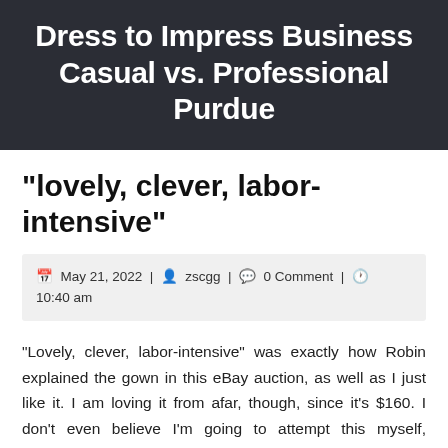Dress to Impress Business Casual vs. Professional Purdue
“lovely, clever, labor-intensive”
May 21, 2022 | zscgg | 0 Comment | 10:40 am
“Lovely, clever, labor-intensive” was exactly how Robin explained the gown in this eBay auction, as well as I just like it. I am loving it from afar, though, since it’s $160. I don’t even believe I’m going to attempt this myself, although I’m always lured to be clever with striped fabric. There’s clever, as well as then there’s as well clever by